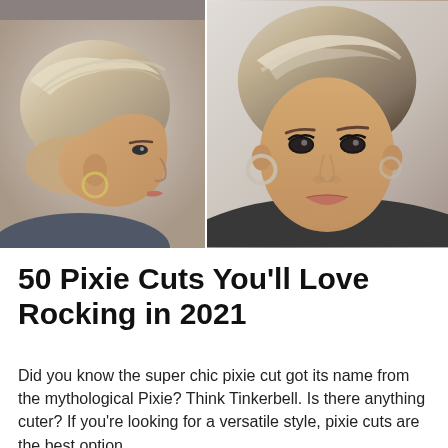[Figure (photo): Two photos side by side of women with short blonde pixie cut hairstyles. Left photo shows a side profile view. Right photo shows a front-facing close-up portrait.]
50 Pixie Cuts You'll Love Rocking in 2021
Did you know the super chic pixie cut got its name from the mythological Pixie? Think Tinkerbell. Is there anything cuter? If you're looking for a versatile style, pixie cuts are the best option,